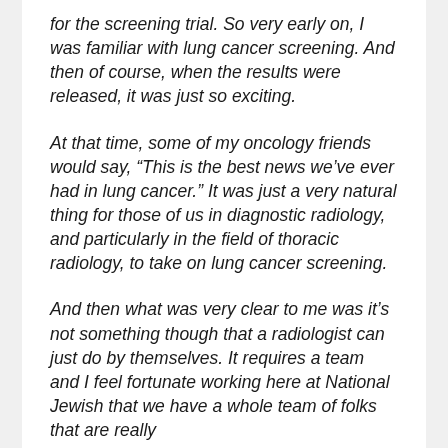for the screening trial. So very early on, I was familiar with lung cancer screening. And then of course, when the results were released, it was just so exciting.
At that time, some of my oncology friends would say, “This is the best news we’ve ever had in lung cancer.” It was just a very natural thing for those of us in diagnostic radiology, and particularly in the field of thoracic radiology, to take on lung cancer screening.
And then what was very clear to me was it’s not something though that a radiologist can just do by themselves. It requires a team and I feel fortunate working here at National Jewish that we have a whole team of folks that are really